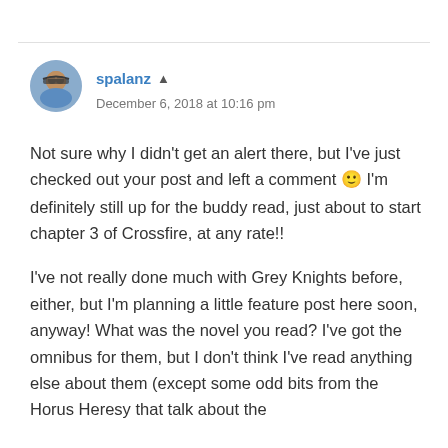[Figure (photo): Circular avatar photo of user spalanz showing a man wearing sunglasses]
spalanz ▲
December 6, 2018 at 10:16 pm
Not sure why I didn't get an alert there, but I've just checked out your post and left a comment 🙂 I'm definitely still up for the buddy read, just about to start chapter 3 of Crossfire, at any rate!!
I've not really done much with Grey Knights before, either, but I'm planning a little feature post here soon, anyway! What was the novel you read? I've got the omnibus for them, but I don't think I've read anything else about them (except some odd bits from the Horus Heresy that talk about the